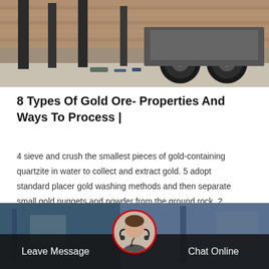[Figure (photo): Photograph of heavy machinery trucks and construction vehicles, showing large tires and metal frames in a snowy outdoor environment.]
8 Types Of Gold Ore- Properties And Ways To Process |
4 sieve and crush the smallest pieces of gold-containing quartzite in water to collect and extract gold. 5 adopt standard placer gold washing methods and then separate small gold nuggets and powder from the ground rock. 2. silver-gold ore silver gold ore properties gold and silver ore are rich in silver sulfide and free gold.
Get Price ×
[Figure (photo): Bottom banner showing a customer service agent (woman with headset) in a circular frame with red border, flanked by 'Leave Message' on the left and 'Chat Online' on the right, on a dark semi-transparent strip over an industrial background.]